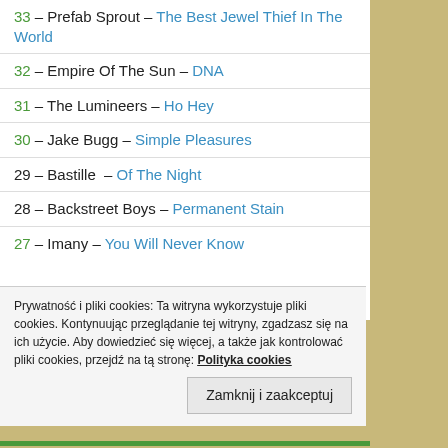33 – Prefab Sprout – The Best Jewel Thief In The World
32 – Empire Of The Sun – DNA
31 – The Lumineers – Ho Hey
30 – Jake Bugg – Simple Pleasures
29 – Bastille  – Of The Night
28 – Backstreet Boys – Permanent Stain
27 – Imany – You Will Never Know
Prywatność i pliki cookies: Ta witryna wykorzystuje pliki cookies. Kontynuując przeglądanie tej witryny, zgadzasz się na ich użycie. Aby dowiedzieć się więcej, a także jak kontrolować pliki cookies, przejdź na tą stronę: Polityka cookies
Zamknij i zaakceptuj